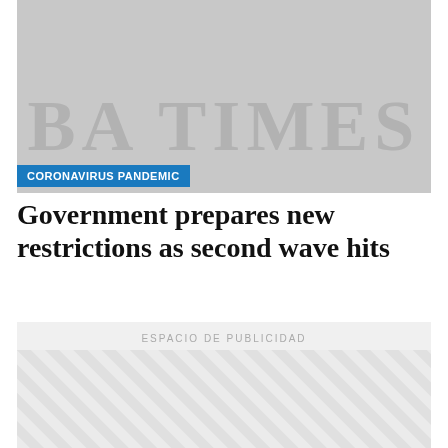[Figure (logo): Newspaper logo placeholder — grey rectangle with 'BA TIMES' text in large serif letters]
CORONAVIRUS PANDEMIC
Government prepares new restrictions as second wave hits
[Figure (other): Advertisement placeholder box with diagonal stripe pattern and text 'ESPACIO DE PUBLICIDAD']